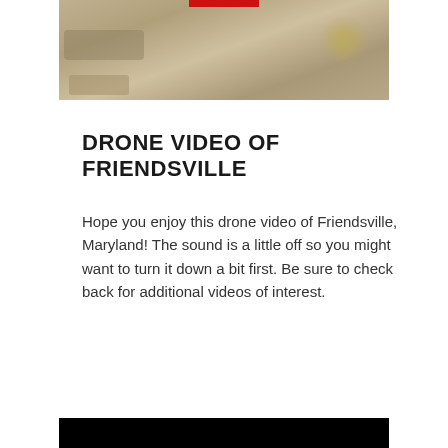[Figure (screenshot): Top portion of a video player showing a rocky outdoor scene with brown/tan rocks and some vegetation. A red bar is visible at the top of the video frame. The video is framed with a black border.]
DRONE VIDEO OF FRIENDSVILLE
Hope you enjoy this drone video of Friendsville, Maryland! The sound is a little off so you might want to turn it down a bit first. Be sure to check back for additional videos of interest.
[Figure (screenshot): Bottom edge of another video player, showing a black bar at the bottom of the page.]